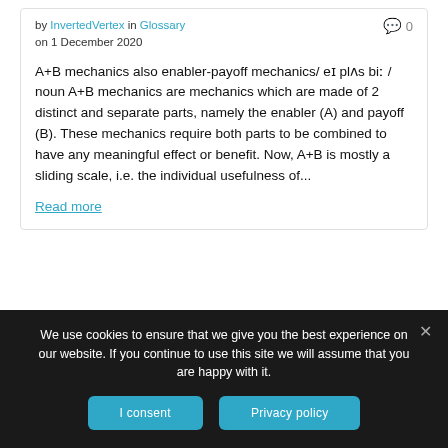by InvertedVertex in Glossary on 1 December 2020
A+B mechanics also enabler-payoff mechanics/ eɪ plʌs biː / noun A+B mechanics are mechanics which are made of 2 distinct and separate parts, namely the enabler (A) and payoff (B). These mechanics require both parts to be combined to have any meaningful effect or benefit. Now, A+B is mostly a sliding scale, i.e. the individual usefulness of...
Read more
We use cookies to ensure that we give you the best experience on our website. If you continue to use this site we will assume that you are happy with it.